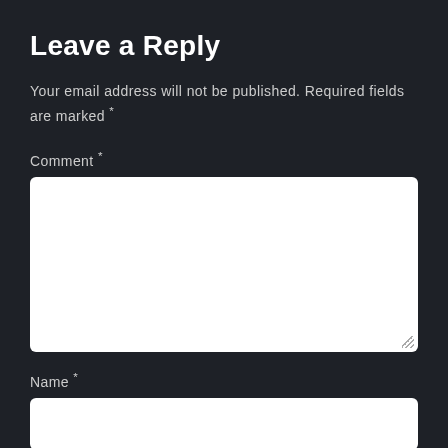Leave a Reply
Your email address will not be published. Required fields are marked *
Comment *
[Figure (other): Large white textarea input box for comment entry with resize handle in bottom-right corner]
Name *
[Figure (other): White single-line text input box for name entry]